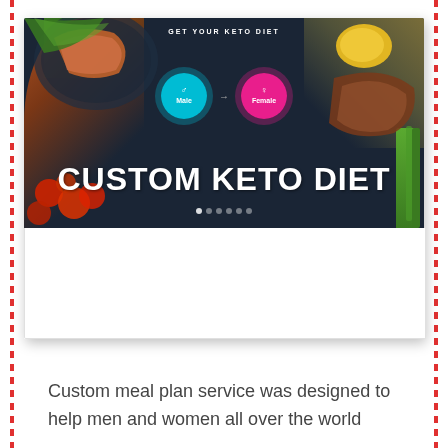[Figure (screenshot): Screenshot of a Custom Keto Diet website showing food imagery (salmon, vegetables, tomatoes, yellow pepper, steak), gender selection circles (male in cyan, female in pink), and large bold white text reading 'CUSTOM KETO DIET' on a dark navy background, with a white lower section.]
Custom meal plan service was designed to help men and women all over the world